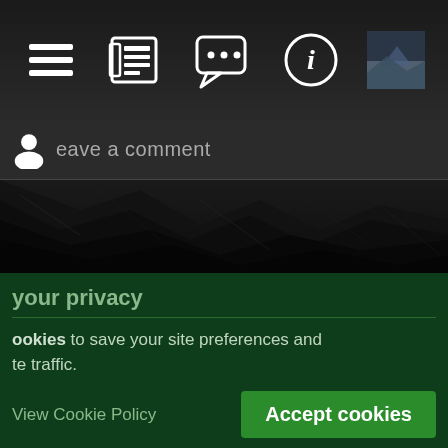[Figure (screenshot): Mobile app navigation bar with icons: list/menu icon, newspaper icon, chat/comment icon, info circle icon, and a thumbnail image]
Leave a comment
[Figure (photo): Dark rocky mountain background image]
Your privacy
cookies to save your site preferences and te traffic.
View Cookie Policy
Accept cookies